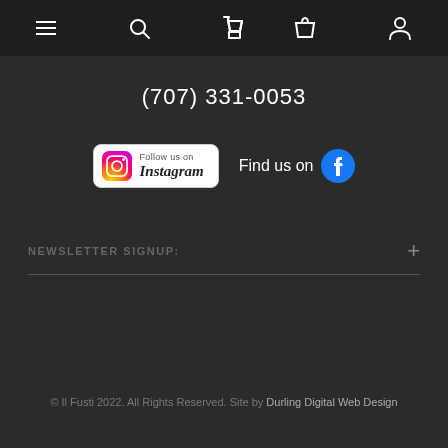Navigation bar with hamburger menu, search, cart, and account icons
(707) 331-0053
[Figure (logo): Instagram Follow us on badge and Facebook Find us on badge]
NEWSLETTER SIGNUP:
© Il Fusti 2022. All Rights Reserved. Site by Durling Digital Web Design